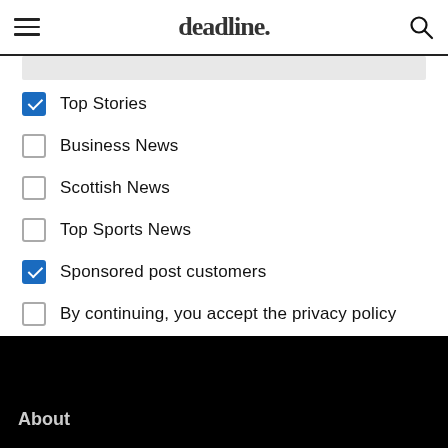deadline.
Top Stories (checked)
Business News (unchecked)
Scottish News (unchecked)
Top Sports News (unchecked)
Sponsored post customers (checked)
By continuing, you accept the privacy policy (unchecked)
Subscribe
About